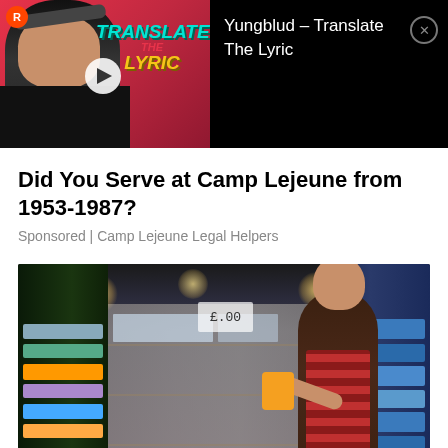[Figure (screenshot): Video ad thumbnail showing a young man with sunglasses on his head, smiling, with 'Translate The Lyric' colorful text overlay and a play button. The right side shows video title text on black background.]
Yungblud – Translate The Lyric
Did You Serve at Camp Lejeune from 1953-1987?
Sponsored | Camp Lejeune Legal Helpers
[Figure (photo): A woman in a red plaid shirt browsing products on a supermarket shelf, looking at an item she is holding. Store shelves with various products visible in the background.]